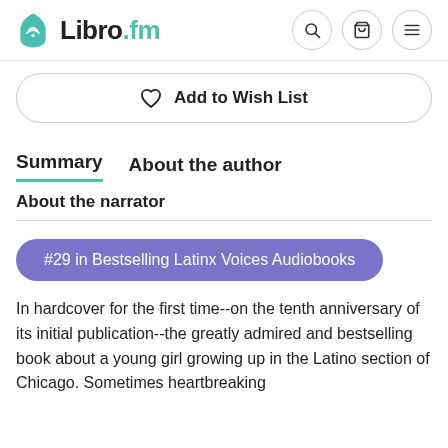Libro.fm
Add to Wish List
Summary   About the author
About the narrator
#29 in Bestselling Latinx Voices Audiobooks
In hardcover for the first time--on the tenth anniversary of its initial publication--the greatly admired and bestselling book about a young girl growing up in the Latino section of Chicago. Sometimes heartbreaking